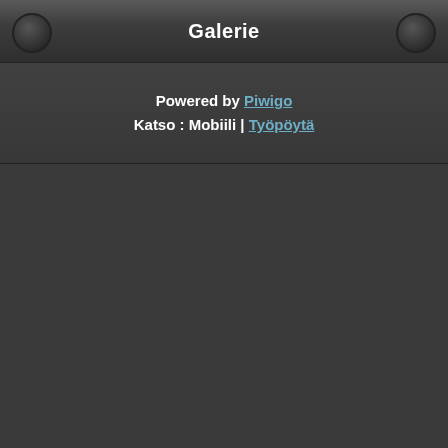Galerie
Powered by Piwigo
Katso : Mobiili | Työpöytä